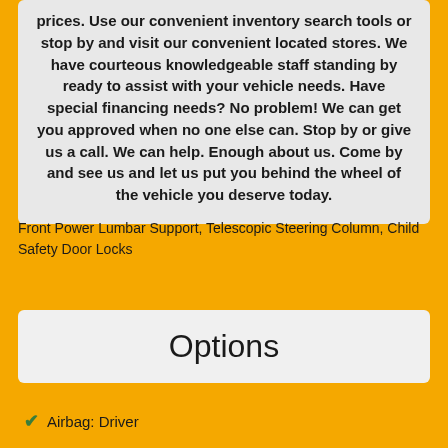prices. Use our convenient inventory search tools or stop by and visit our convenient located stores. We have courteous knowledgeable staff standing by ready to assist with your vehicle needs. Have special financing needs? No problem! We can get you approved when no one else can. Stop by or give us a call. We can help. Enough about us. Come by and see us and let us put you behind the wheel of the vehicle you deserve today.
Front Power Lumbar Support, Telescopic Steering Column, Child Safety Door Locks
Options
Airbag: Driver